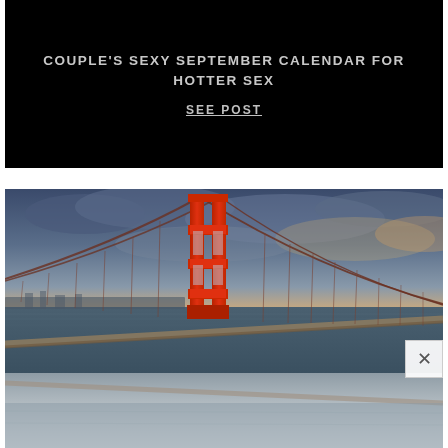COUPLE'S SEXY SEPTEMBER CALENDAR FOR HOTTER SEX
SEE POST
[Figure (photo): Golden Gate Bridge photographed at dusk/twilight with dramatic cloudy sky. The iconic red bridge tower is prominent in the center-left, with suspension cables extending to the right. The bay water is visible below with the city skyline in the distant background.]
[Figure (photo): Continuation/lower portion of the Golden Gate Bridge photo, showing the bridge roadway and water, partially faded/washed out at bottom.]